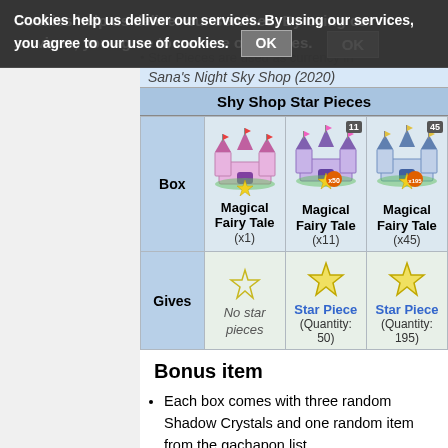Star Pieces are used as currency in Sana's Night Sky Shop (2020)
|  | Magical Fairy Tale (x1) | Magical Fairy Tale (x11) | Magical Fairy Tale (x45) |
| --- | --- | --- | --- |
| Box | Magical Fairy Tale (x1) | Magical Fairy Tale (x11) | Magical Fairy Tale (x45) |
| Gives | No star pieces | Star Piece (Quantity: 50) | Star Piece (Quantity: 195) |
Bonus item
Each box comes with three random Shadow Crystals and one random item from the gachapon list.
| Bonus items |
| --- |
| Finest | Potent | Potent Fine |